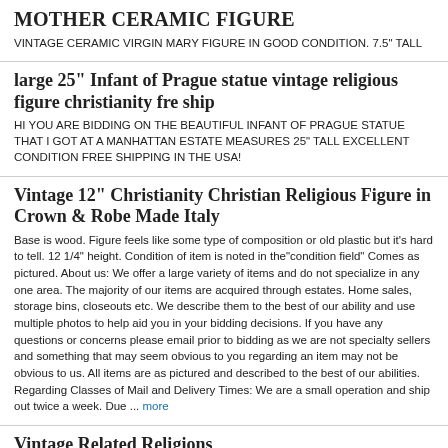MOTHER CERAMIC FIGURE
VINTAGE CERAMIC VIRGIN MARY FIGURE IN GOOD CONDITION. 7.5" TALL
large 25" Infant of Prague statue vintage religious figure christianity fre ship
HI YOU ARE BIDDING ON THE BEAUTIFUL INFANT OF PRAGUE STATUE THAT I GOT AT A MANHATTAN ESTATE MEASURES 25" TALL EXCELLENT CONDITION FREE SHIPPING IN THE USA!
Vintage 12" Christianity Christian Religious Figure in Crown & Robe Made Italy
Base is wood. Figure feels like some type of composition or old plastic but it's hard to tell. 12 1/4" height. Condition of item is noted in the"condition field" Comes as pictured. About us: We offer a large variety of items and do not specialize in any one area. The majority of our items are acquired through estates. Home sales, storage bins, closeouts etc. We describe them to the best of our ability and use multiple photos to help aid you in your bidding decisions. If you have any questions or concerns please email prior to bidding as we are not specialty sellers and something that may seem obvious to you regarding an item may not be obvious to us. All items are as pictured and described to the best of our abilities. Regarding Classes of Mail and Delivery Times: We are a small operation and ship out twice a week. Due ... more
Vintage Related Religions